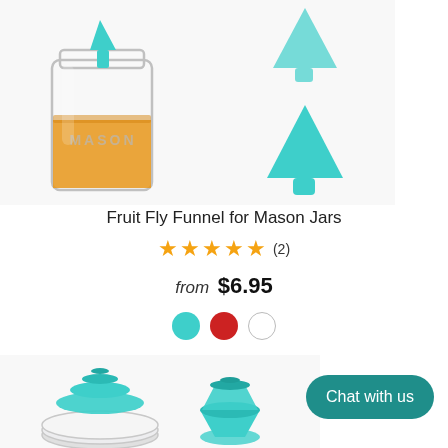[Figure (photo): Product photo showing a Mason jar with orange liquid and teal silicone funnel inserted, plus two standalone teal cone-shaped funnels on right side]
Fruit Fly Funnel for Mason Jars
★★★★★ (2)
from $6.95
[Figure (illustration): Three color swatches: teal circle, red circle, white circle]
[Figure (photo): Bottom product photos showing teal funnel on mason jar lid from above, and a teal funnel on a small base]
Chat with us